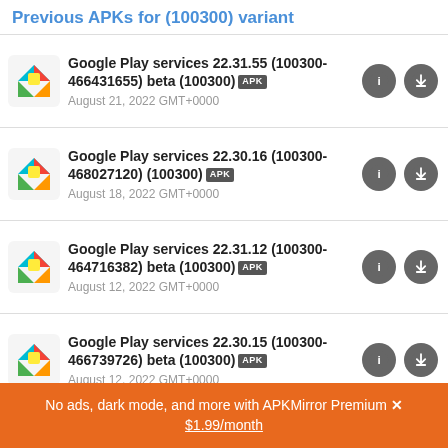Previous APKs for (100300) variant
Google Play services 22.31.55 (100300-466431655) beta (100300) APK
August 21, 2022 GMT+0000
Google Play services 22.30.16 (100300-468027120) (100300) APK
August 18, 2022 GMT+0000
Google Play services 22.31.12 (100300-464716382) beta (100300) APK
August 12, 2022 GMT+0000
Google Play services 22.30.15 (100300-466739726) beta (100300) APK
August 12, 2022 GMT+0000
Google Play services 22.30.55 (100300-465441616) beta (100300) APK
No ads, dark mode, and more with APKMirror Premium ×
$1.99/month